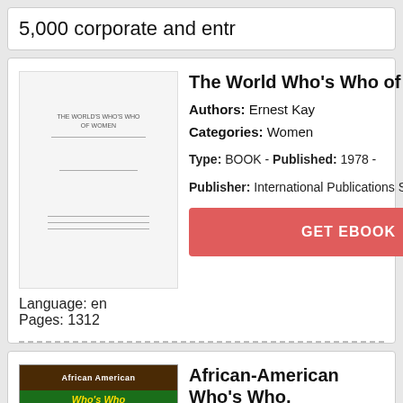5,000 corporate and entr
[Figure (illustration): Book cover placeholder for The World Who's Who of Women - white/light colored cover with small text lines]
The World Who's Who of Wome
Authors: Ernest Kay
Categories: Women
Type: BOOK - Published: 1978 - Publisher: International Publications Service
Language: en
Pages: 1312
GET EBOOK
[Figure (illustration): Book cover for African-American Who's Who - green cover with photos of African American individuals]
African-American Who's Who,
Authors: Mike F. Molaire
Categories: Biography & Autobiography
Type: BOOK - Published: 1998-10-01 -
Language: en
Pages: 240